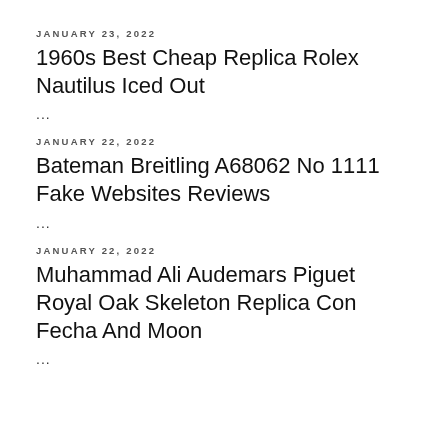JANUARY 23, 2022
1960s Best Cheap Replica Rolex Nautilus Iced Out
...
JANUARY 22, 2022
Bateman Breitling A68062 No 1111 Fake Websites Reviews
...
JANUARY 22, 2022
Muhammad Ali Audemars Piguet Royal Oak Skeleton Replica Con Fecha And Moon
...